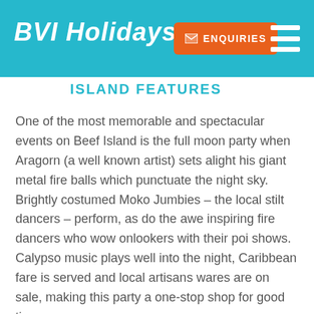BVI Holidays
ISLAND FEATURES
One of the most memorable and spectacular events on Beef Island is the full moon party when Aragorn (a well known artist) sets alight his giant metal fire balls which punctuate the night sky. Brightly costumed Moko Jumbies – the local stilt dancers – perform, as do the awe inspiring fire dancers who wow onlookers with their poi shows. Calypso music plays well into the night, Caribbean fare is served and local artisans wares are on sale, making this party a one-stop shop for good times.
The Trellis Bay Market supplies visiting